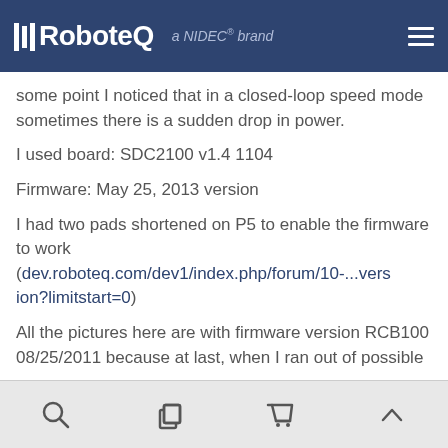RoboteQ a NIDEC® brand
some point I noticed that in a closed-loop speed mode sometimes there is a sudden drop in power. I used board: SDC2100 v1.4 1104 Firmware: May 25, 2013 version I had two pads shortened on P5 to enable the firmware to work (dev.roboteq.com/dev1/index.php/forum/10-...version?limitstart=0)
All the pictures here are with firmware version RCB100 08/25/2011 because at last, when I ran out of possible ways to solve this problem, I
Navigation icons: search, copy, cart, up-arrow